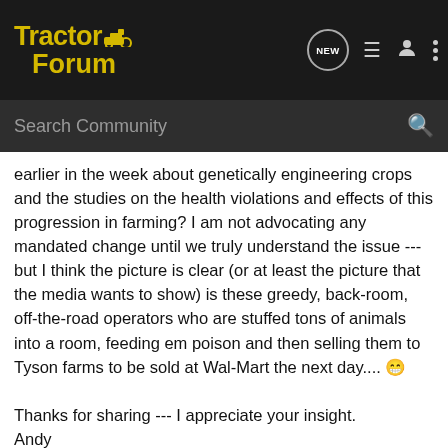TractorForum
earlier in the week about genetically engineering crops and the studies on the health violations and effects of this progression in farming? I am not advocating any mandated change until we truly understand the issue --- but I think the picture is clear (or at least the picture that the media wants to show) is these greedy, back-room, off-the-road operators who are stuffed tons of animals into a room, feeding em poison and then selling them to Tyson farms to be sold at Wal-Mart the next day.... 😁

Thanks for sharing --- I appreciate your insight.
Andy
[Figure (screenshot): GroundOS advertisement banner: 'BUILT BY LAND BROKERS FOR LAND BROKERS — CLICK TO LEARN MORE']